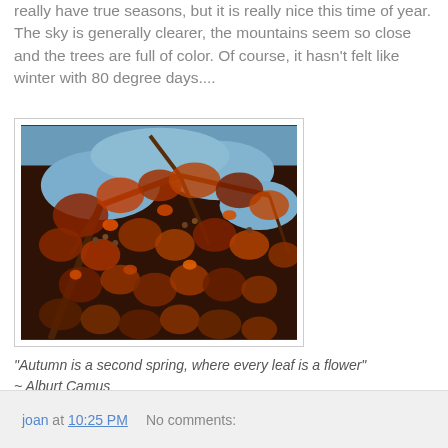really have true seasons, but it is really nice this time of year. The sky is generally clearer, the mountains seem so close and the trees are full of color. Of course, it hasn't felt like winter with 80 degree days....
[Figure (photo): Close-up photograph of autumn tree branches covered in red, orange, and brown leaves against a blue sky background.]
"Autumn is a second spring, where every leaf is a flower" ~ Alburt Camus
joan at 10:25 PM   No comments: